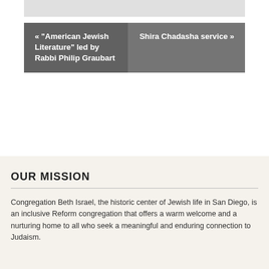« “American Jewish Literature” led by Rabbi Philip Graubart
Shira Chadasha service »
OUR MISSION
Congregation Beth Israel, the historic center of Jewish life in San Diego, is an inclusive Reform congregation that offers a warm welcome and a nurturing home to all who seek a meaningful and enduring connection to Judaism.